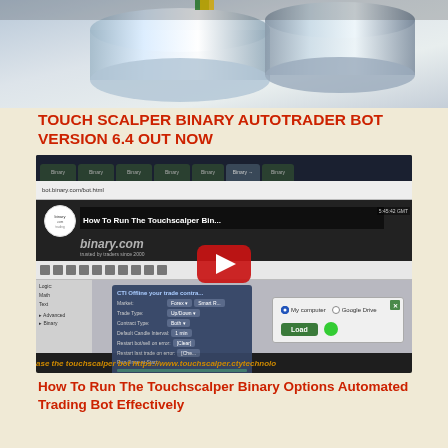[Figure (screenshot): Top decorative image showing close-up of metallic/financial objects on a beige background]
TOUCH SCALPER BINARY AUTOTRADER BOT VERSION 6.4 OUT NOW
[Figure (screenshot): YouTube video thumbnail showing 'How To Run The Touchscalper Bin...' with a binary trading bot interface screenshot, red YouTube play button in center, ticker text at bottom reading 'ase the touchscalper bot https://www.touchscalper.ctytechnolo']
How To Run The Touchscalper Binary Options Automated Trading Bot Effectively